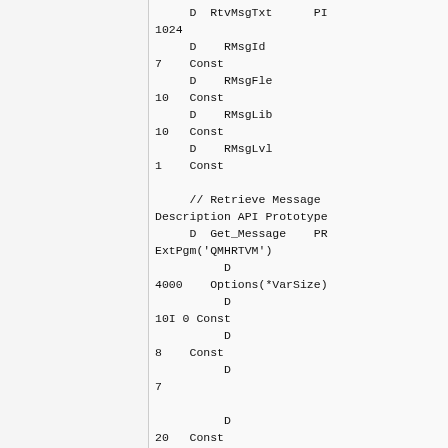D  RtvMsgTxt      PI
1024
       D    RMsgId
7      Const
       D    RMsgFle
10     Const
       D    RMsgLib
10     Const
       D    RMsgLvl
1      Const

       // Retrieve Message Description API Prototype
       D  Get_Message     PR  ExtPgm('QMHRTVM')
              D
4000      Options(*VarSize)
              D
10I 0 Const
              D
8      Const
              D
7
              D
20     Const
              D
32765      Options(*VarSize)
              D
10I 0 Const
              D
10     Const